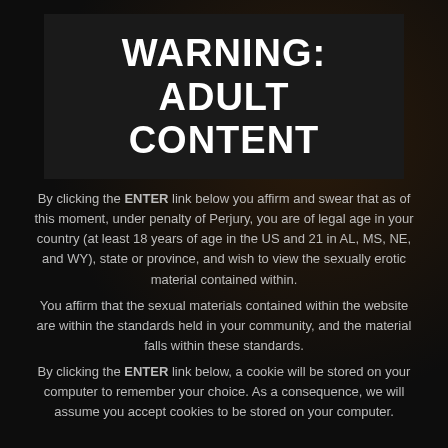WARNING: ADULT CONTENT
By clicking the ENTER link below you affirm and swear that as of this moment, under penalty of Perjury, you are of legal age in your country (at least 18 years of age in the US and 21 in AL, MS, NE, and WY), state or province, and wish to view the sexually erotic material contained within.
You affirm that the sexual materials contained within the website are within the standards held in your community, and the material falls within these standards.
By clicking the ENTER link below, a cookie will be stored on your computer to remember your choice. As a consequence, we will assume you accept cookies to be stored on your computer.
ENTER
If you are under the legal age in your jurisdiction or do not agree